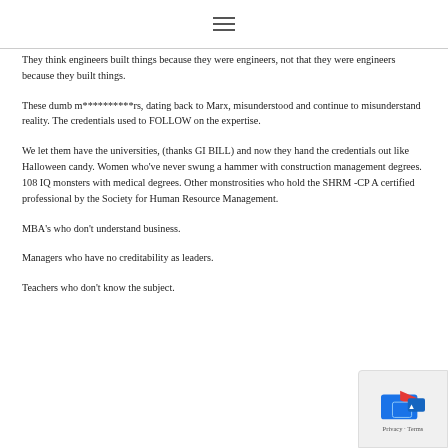≡
They think engineers built things because they were engineers, not that they were engineers because they built things.
These dumb m**********rs, dating back to Marx, misunderstood and continue to misunderstand reality. The credentials used to FOLLOW on the expertise.
We let them have the universities, (thanks GI BILL) and now they hand the credentials out like Halloween candy. Women who've never swung a hammer with construction management degrees. 108 IQ monsters with medical degrees. Other monstrosities who hold the SHRM -CP A certified professional by the Society for Human Resource Management.
MBA's who don't understand business.
Managers who have no creditability as leaders.
Teachers who don't know the subject.